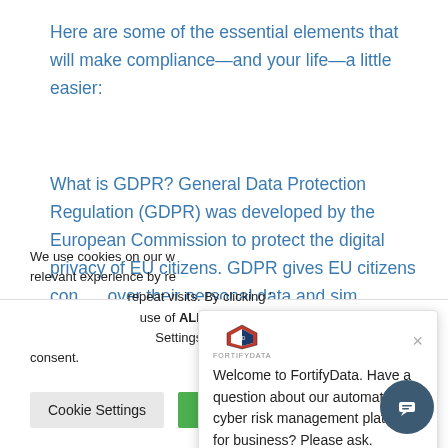Here are some of the essential elements that will make compliance—and your life—a little easier:
What is GDPR? General Data Protection Regulation (GDPR) was developed by the European Commission to protect the digital privacy of EU citizens. GDPR gives EU citizens con[trol] over their personal data and sim[ilar...]
[Figure (other): Chat popup overlay from FortifyData with logo, close button (×), and text: Welcome to FortifyData. Have a question about our automated cyber risk management platform for business? Please ask.]
We use cookies on our w[ebsite to give you the most] relevant experience by re[membering your preferences and] repeat visits. By clicking '[Accept All', you consent to the] use of ALL the cookies. H[owever, you may visit 'Cookie] Settings" to provide a controlled consent.
[Figure (other): Cookie Settings button and Accept All green button at bottom of page, plus a dark teal chat bubble button in bottom right corner.]